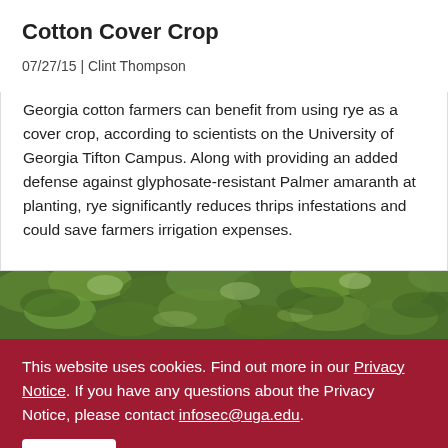Cotton Cover Crop
07/27/15 | Clint Thompson
Georgia cotton farmers can benefit from using rye as a cover crop, according to scientists on the University of Georgia Tifton Campus. Along with providing an added defense against glyphosate-resistant Palmer amaranth at planting, rye significantly reduces thrips infestations and could save farmers irrigation expenses.
[Figure (photo): Photo strip showing green leafy cotton plants from above]
This website uses cookies. Find out more in our Privacy Notice. If you have any questions about the Privacy Notice, please contact infosec@uga.edu.